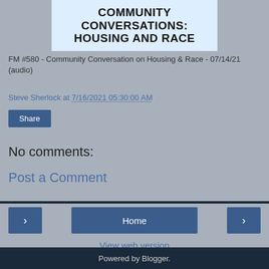[Figure (illustration): Partial image of a light blue banner with bold black uppercase text reading 'COMMUNITY CONVERSATIONS: HOUSING AND RACE']
FM #580 - Community Conversation on Housing & Race - 07/14/21 (audio)
Steve Sherlock at 7/16/2021 05:30:00 AM
Share
No comments:
Post a Comment
Home
View web version
Powered by Blogger.